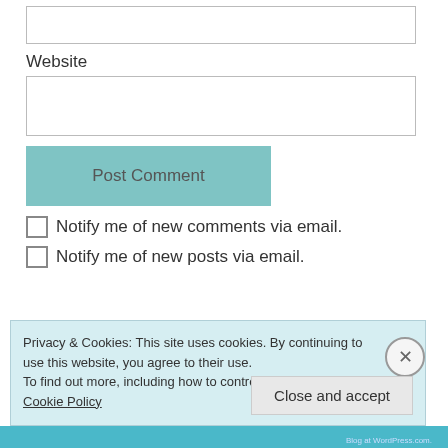[Figure (screenshot): Empty text input box at top of page]
Website
[Figure (screenshot): Empty text input box for website URL]
Post Comment
Notify me of new comments via email.
Notify me of new posts via email.
Privacy & Cookies: This site uses cookies. By continuing to use this website, you agree to their use.
To find out more, including how to control cookies, see here: Cookie Policy
Close and accept